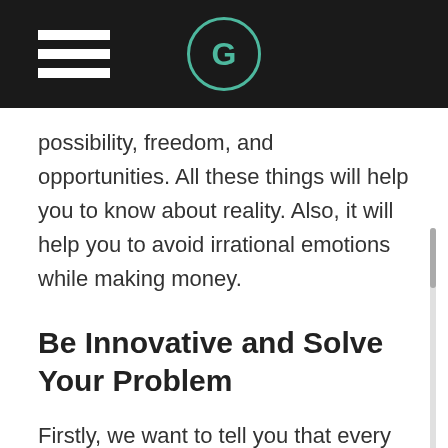G
possibility, freedom, and opportunities. All these things will help you to know about reality. Also, it will help you to avoid irrational emotions while making money.
Be Innovative and Solve Your Problem
Firstly, we want to tell you that every job sector has changed in this COVID-19 time. That is why many people are losing their job. So, we can say that it